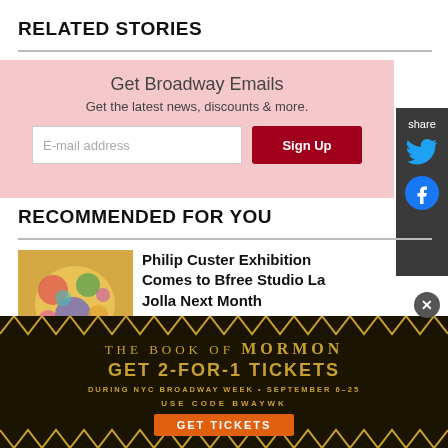RELATED STORIES
Get Broadway Emails
Get the latest news, discounts & more.
[Figure (screenshot): Email signup form with input field and Sign Up button on pink background]
[Figure (infographic): Share sidebar with Twitter and Facebook icons on dark grey background]
RECOMMENDED FOR YOU
[Figure (photo): Colorful artwork thumbnail for Philip Custer Exhibition]
Philip Custer Exhibition Comes to Bfree Studio La Jolla Next Month
[Figure (infographic): The Book of Mormon advertisement banner - GET 2-FOR-1 TICKETS DURING NYC BROADWAY WEEK SEPTEMBER 6-25 USE CODE BWAYWK GET TICKETS]